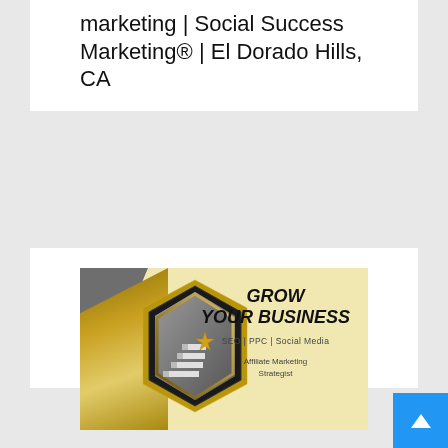marketing | Social Success Marketing® | El Dorado Hills, CA
[Figure (illustration): Marketing business card banner with hexagon containing 3D stairs and a gold star, gold/grey geometric shapes on left, text 'GROW YOUR BUSINESS', 'SEO | PPC | Social Media', 'Affiliate Marketing Strategist' on yellow background]